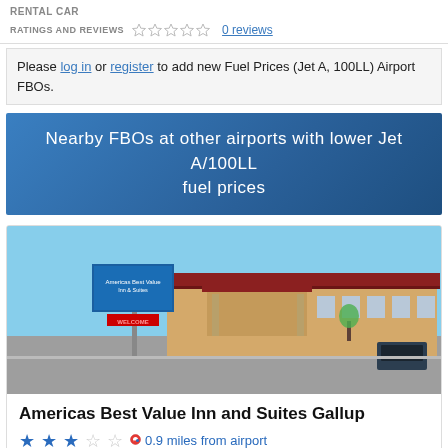RENTAL CAR
RATINGS AND REVIEWS   0 reviews
Please log in or register to add new Fuel Prices (Jet A, 100LL) Airport FBOs.
Nearby FBOs at other airports with lower Jet A/100LL fuel prices
[Figure (photo): Exterior photo of Americas Best Value Inn and Suites Gallup, showing the hotel building with red roof, signage, and parking lot under a clear blue sky.]
Americas Best Value Inn and Suites Gallup
★★★☆☆  0.9 miles from airport
2003 W Route 66 • +1 (505) 7220757